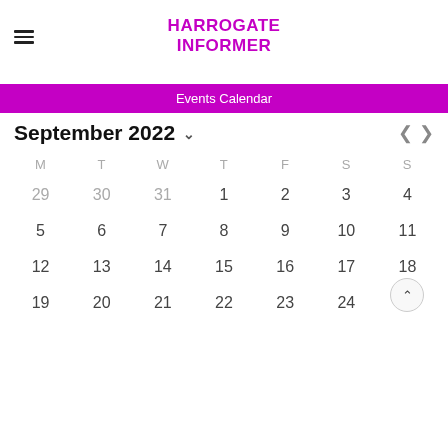HARROGATE INFORMER
Events Calendar
September 2022
| M | T | W | T | F | S | S |
| --- | --- | --- | --- | --- | --- | --- |
| 29 | 30 | 31 | 1 | 2 | 3 | 4 |
| 5 | 6 | 7 | 8 | 9 | 10 | 11 |
| 12 | 13 | 14 | 15 | 16 | 17 | 18 |
| 19 | 20 | 21 | 22 | 23 | 24 | 25 |